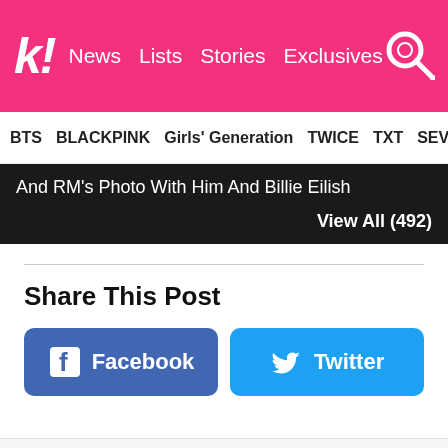k! News  Lists  Stories  Exclusives
BTS  BLACKPINK  Girls' Generation  TWICE  TXT  SEVE
And RM's Photo With Him And Billie Eilish
View All (492)
Share This Post
Facebook
Twitter
FOR YOU